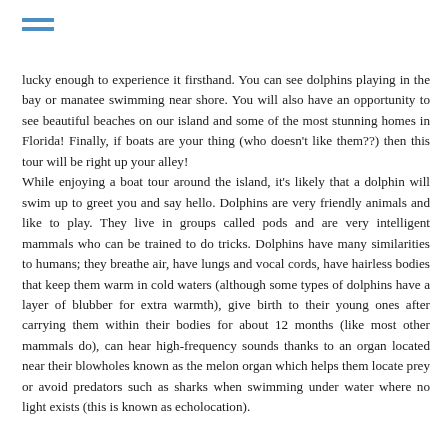[Figure (other): Hamburger menu icon with two horizontal blue lines]
lucky enough to experience it firsthand. You can see dolphins playing in the bay or manatee swimming near shore. You will also have an opportunity to see beautiful beaches on our island and some of the most stunning homes in Florida! Finally, if boats are your thing (who doesn't like them??) then this tour will be right up your alley!
While enjoying a boat tour around the island, it's likely that a dolphin will swim up to greet you and say hello. Dolphins are very friendly animals and like to play. They live in groups called pods and are very intelligent mammals who can be trained to do tricks. Dolphins have many similarities to humans; they breathe air, have lungs and vocal cords, have hairless bodies that keep them warm in cold waters (although some types of dolphins have a layer of blubber for extra warmth), give birth to their young ones after carrying them within their bodies for about 12 months (like most other mammals do), can hear high-frequency sounds thanks to an organ located near their blowholes known as the melon organ which helps them locate prey or avoid predators such as sharks when swimming under water where no light exists (this is known as echolocation).